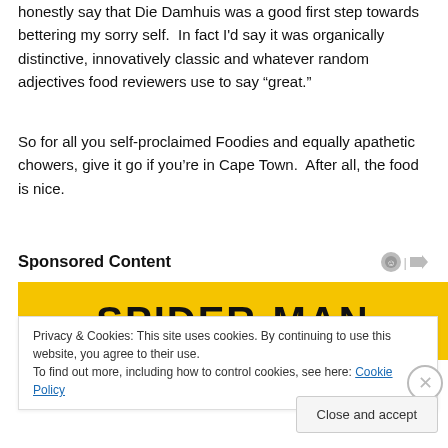honestly say that Die Damhuis was a good first step towards bettering my sorry self.  In fact I'd say it was organically distinctive, innovatively classic and whatever random adjectives food reviewers use to say “great.”
So for all you self-proclaimed Foodies and equally apathetic chowers, give it go if you’re in Cape Town.  After all, the food is nice.
Sponsored Content
[Figure (other): Spider-Man advertisement banner with yellow background and bold black text reading SPIDER-MAN]
Privacy & Cookies: This site uses cookies. By continuing to use this website, you agree to their use.
To find out more, including how to control cookies, see here: Cookie Policy
Close and accept